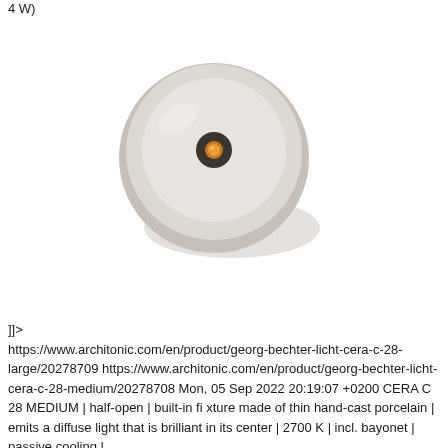4 W)
[Figure (photo): Top-down view of a round white/cream colored ceramic ceiling light fixture (CERA C 28 MEDIUM) with a small circular LED element visible in the center, set against a white background with a subtle shadow.]
]]>
https://www.architonic.com/en/product/georg-bechter-licht-cera-c-28-large/20278709 https://www.architonic.com/en/product/georg-bechter-licht-cera-c-28-medium/20278708 Mon, 05 Sep 2022 20:19:07 +0200 CERA C 28 MEDIUM | half-open | built-in fixture made of thin hand-cast porcelain | emits a diffuse light that is brilliant in its center | 2700 K | incl. bayonet | passive cooling |